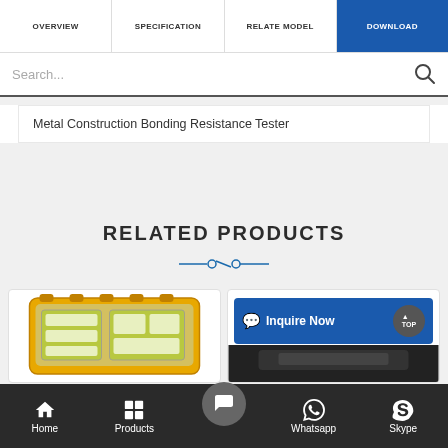OVERVIEW | SPECIFICATION | RELATE MODEL | DOWNLOAD
Search...
Metal Construction Bonding Resistance Tester
RELATED PRODUCTS
[Figure (screenshot): Two related product cards: left shows a yellow test instrument device, right shows an Inquire Now button overlay with a dark instrument device below]
Home | Products | (contact form icon) | Whatsapp | Skype